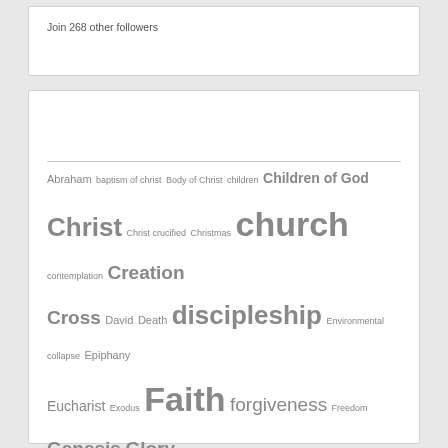Join 268 other followers
[Figure (infographic): Tag cloud of religious/Christian topics with varying font sizes indicating frequency. Tags include: Abraham, baptism of christ, Body of Christ, children, Children of God, Christ, Christ crucified, Christmas, church, contemplation, Creation, Cross, David, Death, discipleship, Environmental collapse, Epiphany, Eucharist, Exodus, Faith, forgiveness, Freedom, Genesis, Glory, Gospel, Grace, Heart, Holy, Hospitality, I AM, Identity, Idols, Individualism, Jacob, Jesus, Jesus Christ, Job, Joseph, Judgement, Lent, Life, Love, Meditation, memorising Scripture, Mercy, Modernity, money, Moses, Mystery, New Creation, Obedience, Paul, Prayer, Priesthood, Psalms, Read bible in a year]